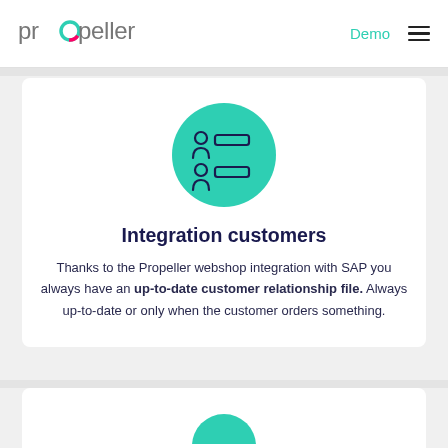propeller | Demo
[Figure (illustration): Green circle icon with two user/contact list rows — person silhouette with a horizontal bar beside each]
Integration customers
Thanks to the Propeller webshop integration with SAP you always have an up-to-date customer relationship file. Always up-to-date or only when the customer orders something.
[Figure (illustration): Partial green circle icon at bottom of page (cropped)]